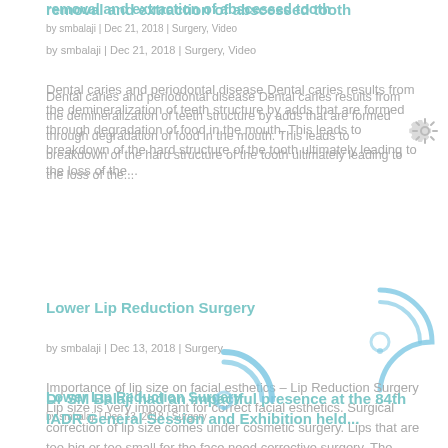removal and extraction of abscessed tooth
by smbalaji | Dec 21, 2018 | Surgery, Video
Dental caries and periodontal disease Dental caries results from the demineralization of teeth structure by adds that are formed through degradation of food in the mouth. This leads to breakdown of the hard structure of the tooth ultimately leading to the loss of the...
Lower Lip Reduction Surgery
by smbalaji | Dec 13, 2018 | Surgery
Importance of lip size on facial esthetics – Lip Reduction Surgery Lip size is very important for correct facial esthetics. Surgical correction of lip size comes under cosmetic surgery. Lips that are too big or too small for the face need corrective surgery. The...
Dr SM Balaji had an impactful presence at the 84th IADR General Session and Exhibition held...